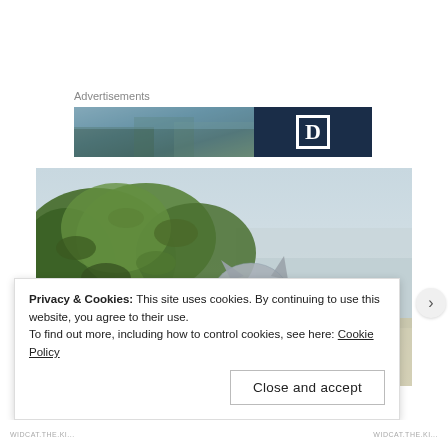Advertisements
[Figure (photo): Advertisement banner with outdoor/landscape photo on left half and dark navy blue background with letter D on right half]
[Figure (photo): Outdoor photo showing a crocheted or knitted gray cat figure peeking over green bushes/shrubs, with a blurred coastal/beach background]
Privacy & Cookies: This site uses cookies. By continuing to use this website, you agree to their use.
To find out more, including how to control cookies, see here: Cookie Policy
Close and accept